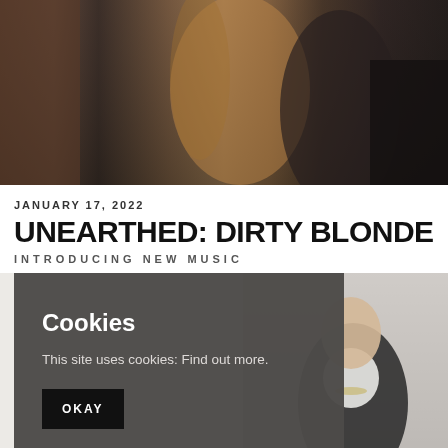[Figure (photo): Two women standing outdoors on a street, one wearing a leopard print coat with blonde hair, one in a dark denim jacket; brick building and dark car in background]
JANUARY 17, 2022
UNEARTHED: DIRTY BLONDE
INTRODUCING NEW MUSIC
Cookies
This site uses cookies: Find out more.
OKAY
[Figure (photo): Young man in dark jacket and white t-shirt with chain necklace, standing against white brick wall]